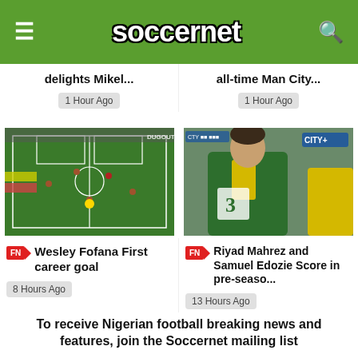soccernet
delights Mikel...
1 Hour Ago
all-time Man City...
1 Hour Ago
[Figure (photo): Soccer match aerial view on green pitch with players]
[Figure (photo): Soccer player in green and yellow jersey, CITY+ broadcast watermark]
Wesley Fofana First career goal
8 Hours Ago
Riyad Mahrez and Samuel Edozie Score in pre-seaso...
13 Hours Ago
To receive Nigerian football breaking news and features, join the Soccernet mailing list